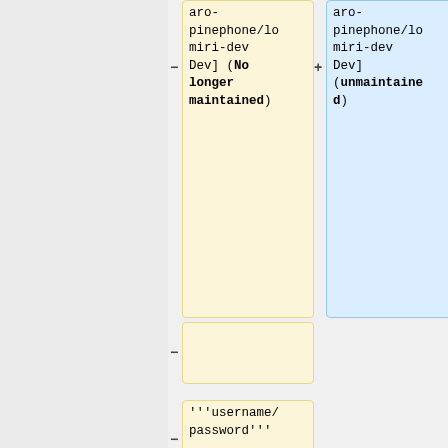[Figure (screenshot): Diff view of wiki markup showing two columns of table cells. Left column has yellow (removed) cells and right column has blue (added) cells. Content includes 'aro-pinephone/lomiri-dev Dev] (No longer maintained)' removed and '(unmaintained)' added. Below that, a removed row with '''username/password''', then rows with '{| class="wikitable"' in both columns, and a new blue cell added with '!colspan="2" style="background: #a7d7f9;"| Default credentials'.]